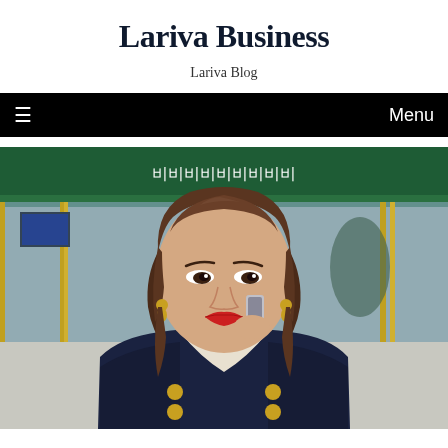Lariva Business
Lariva Blog
≡   Menu
[Figure (photo): A middle-aged Asian woman in a navy blue blazer with white lapels and gold buttons, wearing gold jewelry, holding a smartphone to her ear with red lipstick, standing outside in front of a green storefront with glass doors and golden trim. Korean text visible on the green awning above.]